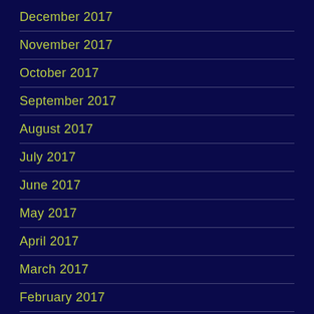December 2017
November 2017
October 2017
September 2017
August 2017
July 2017
June 2017
May 2017
April 2017
March 2017
February 2017